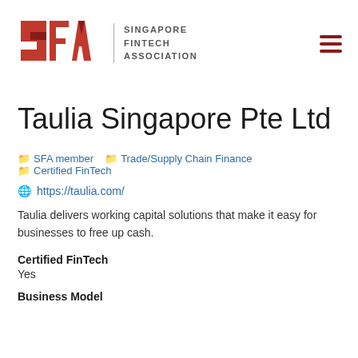[Figure (logo): Singapore Fintech Association (SFA) logo with red geometric letters SFA and a hamburger menu icon on the right]
Taulia Singapore Pte Ltd
SFA member
Trade/Supply Chain Finance
Certified FinTech
https://taulia.com/
Taulia delivers working capital solutions that make it easy for businesses to free up cash.
Certified FinTech
Yes
Business Model